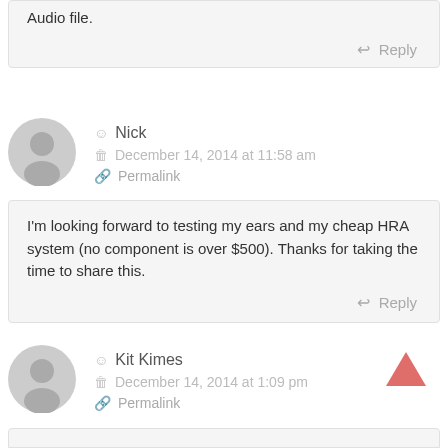Audio file.
Reply
Nick
December 14, 2014 at 11:58 am
Permalink
I'm looking forward to testing my ears and my cheap HRA system (no component is over $500). Thanks for taking the time to share this.
Reply
Kit Kimes
December 14, 2014 at 1:09 pm
Permalink